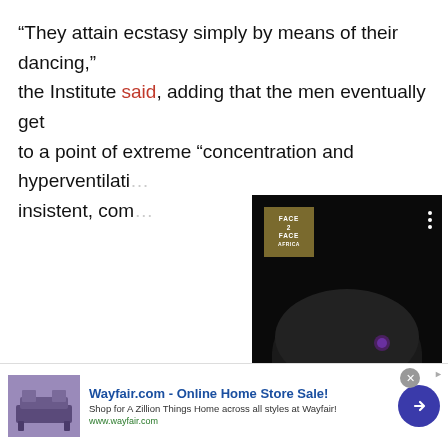“They attain ecstasy simply by means of their dancing,” the Institute said, adding that the men eventually get to a point of extreme “concentration and hyperventilati… insistent, com…
[Figure (photo): Video card overlay showing a woman wearing a black satin bonnet, with a Face2Face logo in the upper left corner. Caption reads: Meet the law student with a prosperity plan for her]
In half-death,… spirits of the d… the dance and…
We use cookies to collect and analyse information on site performance and usage, and to enhance and customise content and advertising. By clicking “Accept” you are clicking into our website…
[Figure (screenshot): Advertisement banner for Wayfair.com - Online Home Store Sale! with furniture image, blue arrow button, and close button]